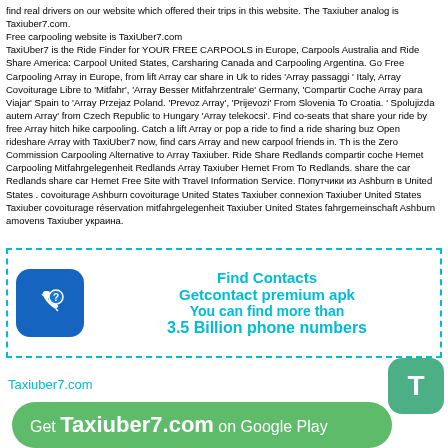find real drivers on our website which offered their trips in this website. The Taxiuber analog is Taxiuber7.com.
Free carpooling website is TaxiUber7.com
TaxiUber7 is the Ride Finder for YOUR FREE CARPOOLS in Europe, Carpools Australia and Ride Share America: Carpool United States, Carsharing Canada and Carpooling Argentina. Go Free Carpooling Array in Europe, from lift Array car share in Uk to rides 'Array passaggi ' Italy, Array Covoiturage Libre to 'Mitfahr', 'Array Besser Mitfahrzentrale' Germany, 'Compartir Coche Array para Viajar' Spain to 'Array Przejaz Poland. 'Prevoz Array', 'Prijevozi' From Slovenia To Croatia. ' Spolujizda autem Array' from Czech Republic to Hungary 'Array telekocsi'. Find co-seats that share your ride by free Array hitch hike carpooling. Catch a lift Array or pop a ride to find a ride sharing buz Open rideshare Array with TaxiUber7 now, find cars Array and new carpool friends in. Th is the Zero Commission Carpooling Alternative to Array Taxiuber. Ride Share Redlands compartir coche Hemet Carpooling Mitfahrgelegenheit Redlands Array Taxiuber Hemet From To Redlands. share the car Redlands share car Hemet Free Site with Travel Information Service. Попутчики из Ashburn в United States . covoiturage Ashburn covoiturage United States Taxiuber connexion Taxiuber United States Taxiuber covoiturage réservation mitfahrgelegenheit Taxiuber United States fahrgemeinschaft Ashburn amovens Taxiuber украина.
[Figure (infographic): Ad box with dashed cyan border showing a blue phone icon with question mark and text: Find Contacts, Getcontact premium apk, You can find more than 3.5 Billion phone numbers]
Taxiuber7.com
[Figure (logo): Green rounded square with white letter T]
Get Taxiuber7.com on Google Play